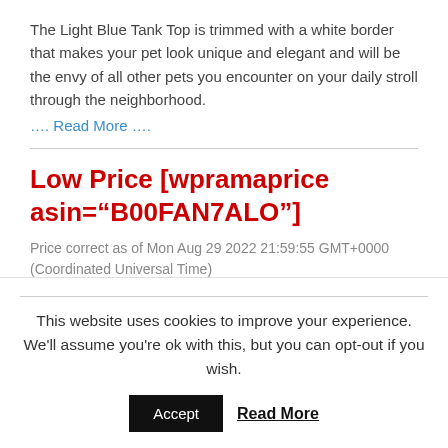The Light Blue Tank Top is trimmed with a white border that makes your pet look unique and elegant and will be the envy of all other pets you encounter on your daily stroll through the neighborhood.
…. Read More ….
Low Price [wpramaprice asin="B00FAN7ALO"]
Price correct as of Mon Aug 29 2022 21:59:55 GMT+0000 (Coordinated Universal Time)
[Figure (other): Broken image placeholder (small icon)]
Buy with confidence from Amazon
This website uses cookies to improve your experience. We'll assume you're ok with this, but you can opt-out if you wish.
Accept   Read More